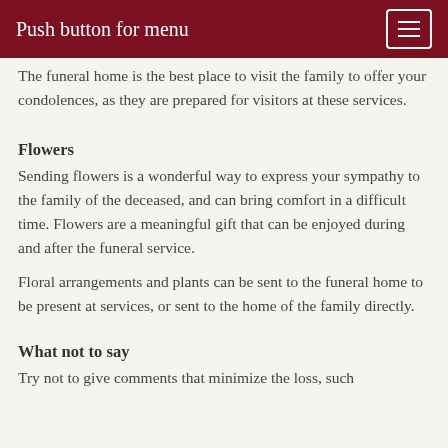Push button for menu
The funeral home is the best place to visit the family to offer your condolences, as they are prepared for visitors at these services.
Flowers
Sending flowers is a wonderful way to express your sympathy to the family of the deceased, and can bring comfort in a difficult time. Flowers are a meaningful gift that can be enjoyed during and after the funeral service.
Floral arrangements and plants can be sent to the funeral home to be present at services, or sent to the home of the family directly.
What not to say
Try not to give comments that minimize the loss, such